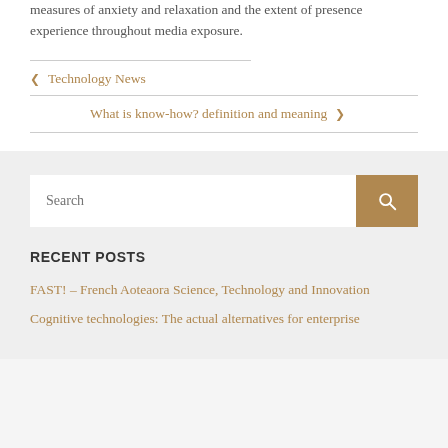measures of anxiety and relaxation and the extent of presence experience throughout media exposure.
< Technology News
What is know-how? definition and meaning >
Search
RECENT POSTS
FAST! – French Aoteaora Science, Technology and Innovation
Cognitive technologies: The actual alternatives for enterprise